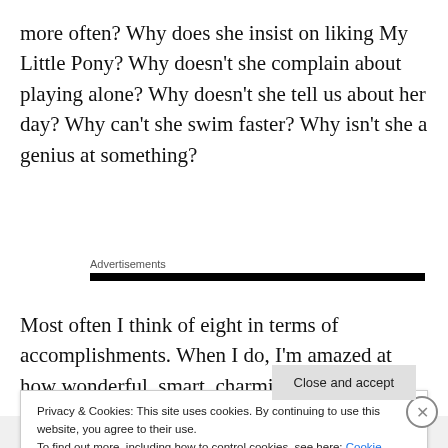more often? Why does she insist on liking My Little Pony? Why doesn't she complain about playing alone? Why doesn't she tell us about her day? Why can't she swim faster? Why isn't she a genius at something?
Advertisements
Most often I think of eight in terms of accomplishments. When I do, I'm amazed at how wonderful, smart, charming, cheerful, and strong she is. She's an artist with
Privacy & Cookies: This site uses cookies. By continuing to use this website, you agree to their use.
To find out more, including how to control cookies, see here: Cookie Policy